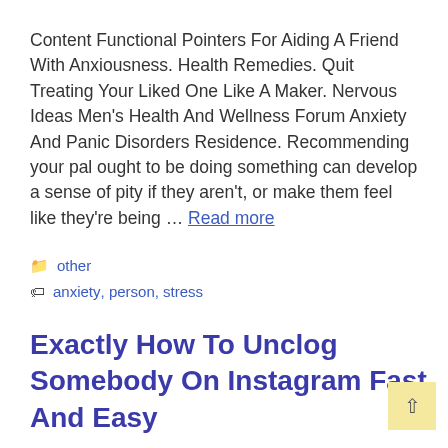Content Functional Pointers For Aiding A Friend With Anxiousness. Health Remedies. Quit Treating Your Liked One Like A Maker. Nervous Ideas Men's Health And Wellness Forum Anxiety And Panic Disorders Residence. Recommending your pal ought to be doing something can develop a sense of pity if they aren't, or make them feel like they're being … Read more
other
anxiety, person, stress
Exactly How To Unclog Somebody On Instagram Fast And Easy